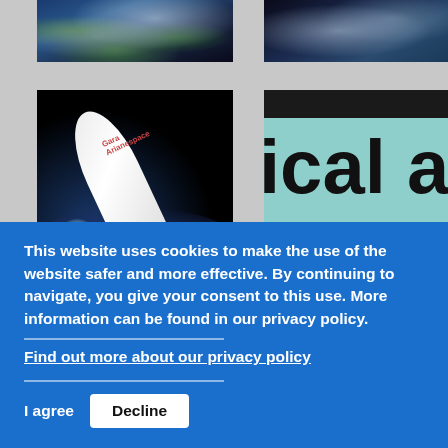[Figure (photo): Satellite view of Earth from space, top-left partial]
[Figure (photo): Satellite view of Earth from space, top-right partial]
[Figure (photo): Ariane rocket launching from Earth orbit]
[Figure (photo): Teal/green background panel with large bold text reading 'ical an' and 'um Gra' (partial text of a title), with dark bar at top]
[Figure (photo): Orange/yellow partial image at bottom left]
[Figure (photo): Light colored partial image at bottom right]
This website uses cookies to make the use of the website safer and more effective. By continuing to navigate, you give your consent to this use. More information can be found in our privacy policy.
Find out more about our privacy policy
I agree
Decline